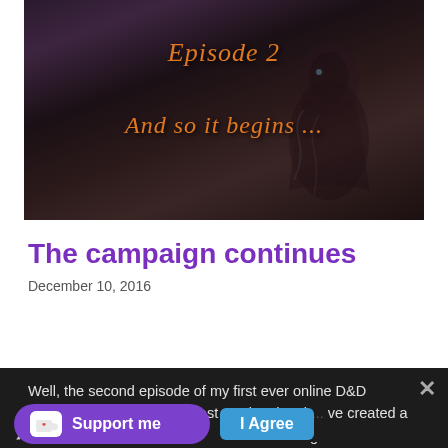[Figure (illustration): Dark fantasy book/episode cover image with orange italic text reading 'Episode 2' and 'And so it begins ...' overlaid on a dark, moody background featuring a shadowy hooded figure with glowing eyes]
The campaign continues
December 10, 2016
Well, the second episode of my first ever online D&D campaign was completed last week. It has b... ve created a ... it is very nice to have that creative outlet again as I think of